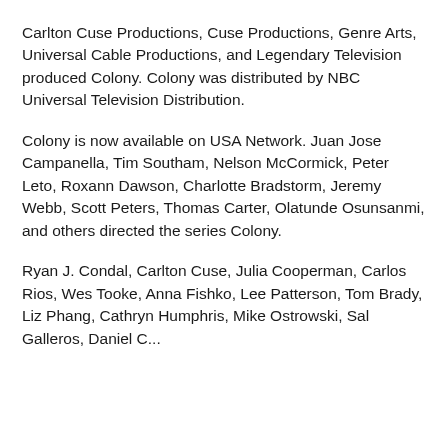Carlton Cuse Productions, Cuse Productions, Genre Arts, Universal Cable Productions, and Legendary Television produced Colony. Colony was distributed by NBC Universal Television Distribution.
Colony is now available on USA Network. Juan Jose Campanella, Tim Southam, Nelson McCormick, Peter Leto, Roxann Dawson, Charlotte Bradstorm, Jeremy Webb, Scott Peters, Thomas Carter, Olatunde Osunsanmi, and others directed the series Colony.
Ryan J. Condal, Carlton Cuse, Julia Cooperman, Carlos Rios, Wes Tooke, Anna Fishko, Lee Patterson, Tom Brady, Liz Phang, Cathryn Humphris, Mike Ostrowski, Sal Galleros, Daniel C...